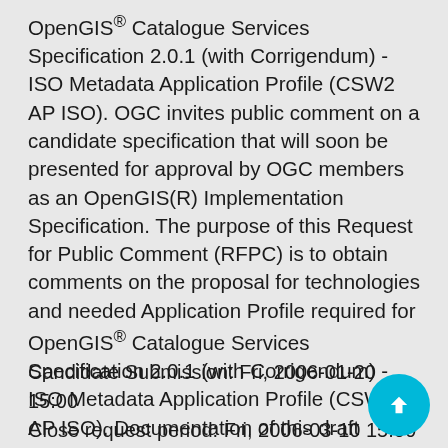OpenGIS® Catalogue Services Specification 2.0.1 (with Corrigendum) - ISO Metadata Application Profile (CSW2 AP ISO). OGC invites public comment on a candidate specification that will soon be presented for approval by OGC members as an OpenGIS(R) Implementation Specification. The purpose of this Request for Public Comment (RFPC) is to obtain comments on the proposal for technologies and needed Application Profile required for OpenGIS® Catalogue Services Specification 2.0.1 (with Corrigendum) - ISO Metadata Application Profile (CSW2 AP ISO). Documentation of this draft specification can be downloaded here:
Candidate Submission: Fri, 2006-01-20 15:00
Close request period: Fri, 2006-03-10 15:00
TC and PC vote to issue request: Thu, 2006-04-